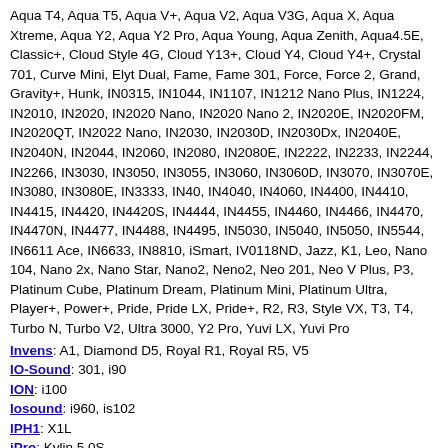Aqua T4, Aqua T5, Aqua V+, Aqua V2, Aqua V3G, Aqua X, Aqua Xtreme, Aqua Y2, Aqua Y2 Pro, Aqua Young, Aqua Zenith, Aqua4.5E, Classic+, Cloud Style 4G, Cloud Y13+, Cloud Y4, Cloud Y4+, Crystal 701, Curve Mini, Elyt Dual, Fame, Fame 301, Force, Force 2, Grand, Gravity+, Hunk, IN0315, IN1044, IN1107, IN1212 Nano Plus, IN1224, IN2010, IN2020, IN2020 Nano, IN2020 Nano 2, IN2020E, IN2020FM, IN2020QT, IN2022 Nano, IN2030, IN2030D, IN2030Dx, IN2040E, IN2040N, IN2044, IN2060, IN2080, IN2080E, IN2222, IN2233, IN2244, IN2266, IN3030, IN3050, IN3055, IN3060, IN3060D, IN3070, IN3070E, IN3080, IN3080E, IN3333, IN40, IN4040, IN4060, IN4400, IN4410, IN4415, IN4420, IN4420S, IN4444, IN4455, IN4460, IN4466, IN4470, IN4470N, IN4477, IN4488, IN4495, IN5030, IN5040, IN5050, IN5544, IN6611 Ace, IN6633, IN8810, iSmart, IV0118ND, Jazz, K1, Leo, Nano 104, Nano 2x, Nano Star, Nano2, Neno2, Neo 201, Neo V Plus, P3, Platinum Cube, Platinum Dream, Platinum Mini, Platinum Ultra, Player+, Power+, Pride, Pride LX, Pride+, R2, R3, Style VX, T3, T4, Turbo N, Turbo V2, Ultra 3000, Y2 Pro, Yuvi LX, Yuvi Pro
Invens: A1, Diamond D5, Royal R1, Royal R5, V5
IO-Sound: 301, i90
ION: i100
Iosound: i960, is102
IPH1: X1L
iPro: Kylin 5.0S
Irbis: SP20
Irion: 9108DS
Iris: DM-7G, G7060, I-S3, is3+, Next P Pro, Next P+, Sat DM 7g, V10, Vox 55, Vox Alpha, Vox Energy
iRULU: X67
iSmart: i1 Thunder, IS305
ITel: 2130, 2150, 5170, 5360, 5622, 6005, 6910, A11D, A12, A14, A14 Max, A14 Plus W4002, A15, A15 W5002, A16, A16 Plus, A16 Plus A510W, A16+, A17 W5006X, A22 Pro, A23, A23 Pro, A23 Pro L5006S, A235, A23R, A23s, A23s Pro L5006S, A24 L5007, A25, A25 L5002, A25 Pro L5002P, A32F, A33,